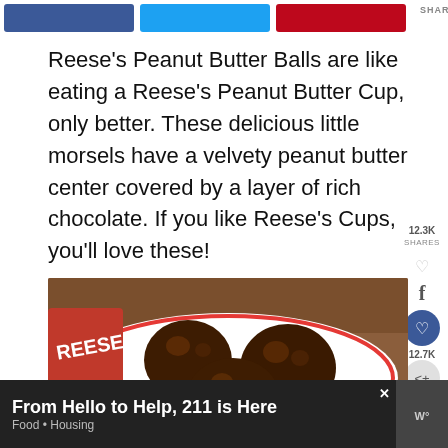[Figure (screenshot): Social sharing buttons (Facebook blue, Twitter cyan, Pinterest red) at top of page, with SHARES label on right]
Reese’s Peanut Butter Balls are like eating a Reese’s Peanut Butter Cup, only better. These delicious little morsels have a velvety peanut butter center covered by a layer of rich chocolate. If you like Reese’s Cups, you’ll love these!
[Figure (screenshot): Side social widget showing 12.3K SHARES, Facebook f icon, heart button, 12.7K count, share button, green check icon]
[Figure (photo): Chocolate peanut butter balls on a white plate with red rim, Reese’s packaging visible in background]
From Hello to Help, 211 is Here
Food • Housing